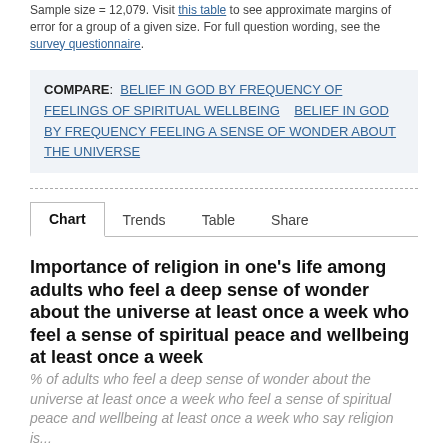Sample size = 12,079. Visit this table to see approximate margins of error for a group of a given size. For full question wording, see the survey questionnaire.
COMPARE: BELIEF IN GOD BY FREQUENCY OF FEELINGS OF SPIRITUAL WELLBEING   BELIEF IN GOD BY FREQUENCY FEELING A SENSE OF WONDER ABOUT THE UNIVERSE
Chart   Trends   Table   Share
Importance of religion in one's life among adults who feel a deep sense of wonder about the universe at least once a week who feel a sense of spiritual peace and wellbeing at least once a week
% of adults who feel a deep sense of wonder about the universe at least once a week who feel a sense of spiritual peace and wellbeing at least once a week who say religion is...
[Figure (other): Y-axis label showing 100% with a dashed gridline, beginning of a bar chart]